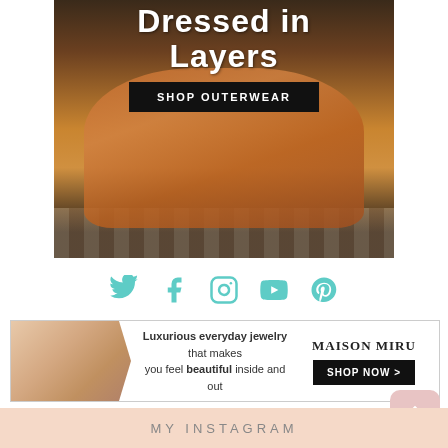[Figure (photo): Fashion photo of a woman wearing a camel/tan faux fur coat, posed in a decorative interior setting. Text overlay reads 'Dressed in Layers' with a 'SHOP OUTERWEAR' button.]
[Figure (infographic): Row of five social media icons in teal/mint color: Twitter, Facebook, Instagram, YouTube, Pinterest]
[Figure (photo): Advertisement banner for Maison Miru jewelry. Shows a woman's profile with jewelry. Text: 'Luxurious everyday jewelry that makes you feel beautiful inside and out'. Brand name MAISON MIRU and SHOP NOW button.]
MY INSTAGRAM